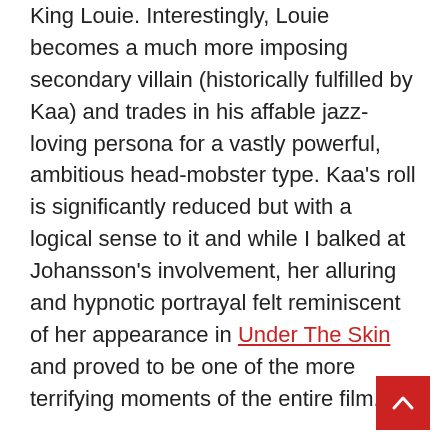King Louie. Interestingly, Louie becomes a much more imposing secondary villain (historically fulfilled by Kaa) and trades in his affable jazz-loving persona for a vastly powerful, ambitious head-mobster type. Kaa's roll is significantly reduced but with a logical sense to it and while I balked at Johansson's involvement, her alluring and hypnotic portrayal felt reminiscent of her appearance in Under The Skin and proved to be one of the more terrifying moments of the entire film.
Based on the initial trailers, it wasn't exactly clear whether this would be a flat-out live-action reinterpretation of the Disney original or a faithful repetition. Musically speaking, it's a bit of both. John Debney's score fantastically utilises familiar themes as building blocks for the orchestral score and many of the iconic lyrics are reworked as spoken dialogue. Having said that, two songs remain pretty much in